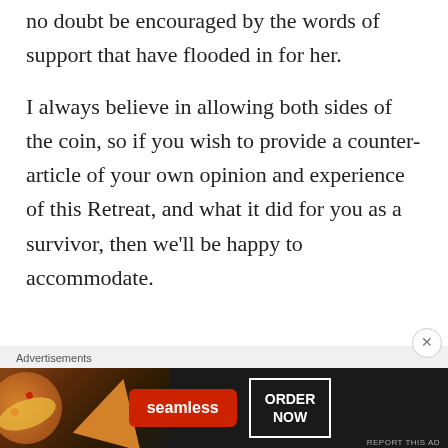no doubt be encouraged by the words of support that have flooded in for her.
I always believe in allowing both sides of the coin, so if you wish to provide a counter-article of your own opinion and experience of this Retreat, and what it did for you as a survivor, then we'll be happy to accommodate.
Advertisements
[Figure (other): Seamless food delivery advertisement banner showing pizza image on the left, Seamless logo button in center, and ORDER NOW button on the right, on a dark background.]